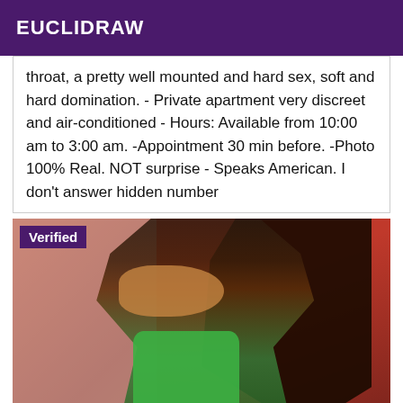EUCLIDRAW
throat, a pretty well mounted and hard sex, soft and hard domination. - Private apartment very discreet and air-conditioned - Hours: Available from 10:00 am to 3:00 am. -Appointment 30 min before. -Photo 100% Real. NOT surprise - Speaks American. I don't answer hidden number
[Figure (photo): A woman wearing a green dress with long dark hair, taking a selfie in a mirror against a red chair/sofa background. A 'Verified' badge overlays the top-left corner of the image.]